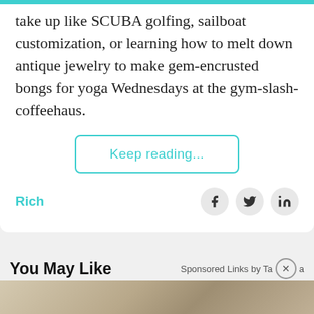take up like SCUBA golfing, sailboat customization, or learning how to melt down antique jewelry to make gem-encrusted bongs for yoga Wednesdays at the gym-slash-coffeehaus.
Keep reading...
Rich
You May Like
Sponsored Links by Ta... a
[Figure (photo): Partial photograph visible at the bottom of the page]